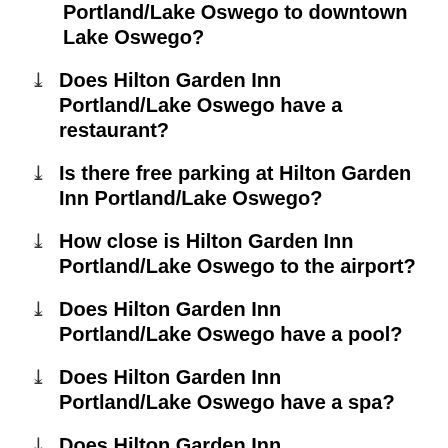Portland/Lake Oswego to downtown Lake Oswego?
Does Hilton Garden Inn Portland/Lake Oswego have a restaurant?
Is there free parking at Hilton Garden Inn Portland/Lake Oswego?
How close is Hilton Garden Inn Portland/Lake Oswego to the airport?
Does Hilton Garden Inn Portland/Lake Oswego have a pool?
Does Hilton Garden Inn Portland/Lake Oswego have a spa?
Does Hilton Garden Inn Portland/Lake Oswego offer free breakfast?
What time is check-in at Hilton Garden